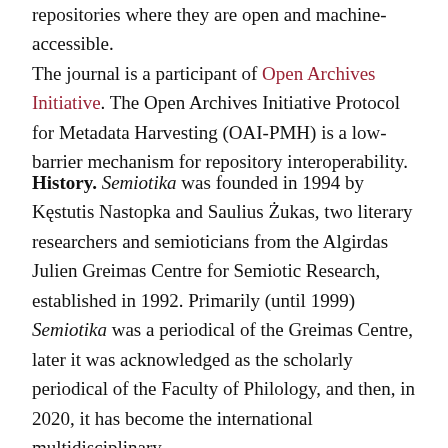repositories where they are open and machine-accessible. The journal is a participant of Open Archives Initiative. The Open Archives Initiative Protocol for Metadata Harvesting (OAI-PMH) is a low-barrier mechanism for repository interoperability.
History. Semiotika was founded in 1994 by Kęstutis Nastopka and Saulius Żukas, two literary researchers and semioticians from the Algirdas Julien Greimas Centre for Semiotic Research, established in 1992. Primarily (until 1999) Semiotika was a periodical of the Greimas Centre, later it was acknowledged as the scholarly periodical of the Faculty of Philology, and then, in 2020, it has become the international multidisciplinary